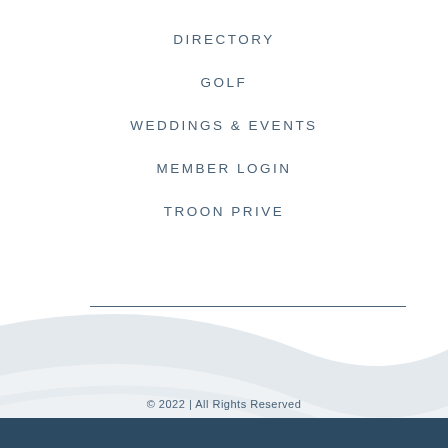DIRECTORY
GOLF
WEDDINGS & EVENTS
MEMBER LOGIN
TROON PRIVE
© 2022 | All Rights Reserved